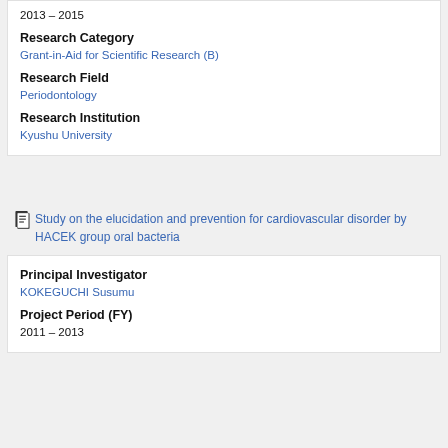Research Category
Grant-in-Aid for Scientific Research (B)
Research Field
Periodontology
Research Institution
Kyushu University
2013 – 2015
Study on the elucidation and prevention for cardiovascular disorder by HACEK group oral bacteria
Principal Investigator
KOKEGUCHI Susumu
Project Period (FY)
2011 – 2013